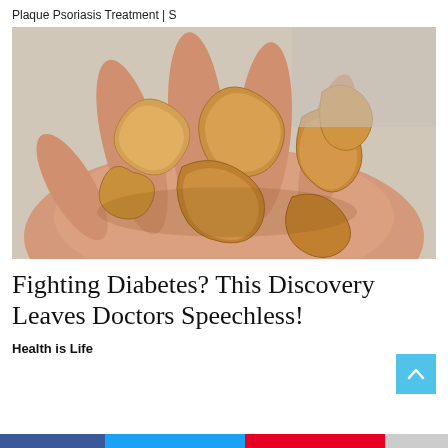Plaque Psoriasis Treatment | S
[Figure (photo): A hand holding a pile of cashew nuts against a light background]
Fighting Diabetes? This Discovery Leaves Doctors Speechless!
Health is Life